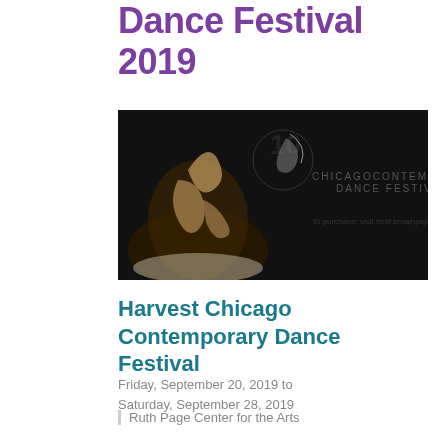Dance Festival 2019
[Figure (illustration): Harvest Chicago Contemporary Dance Festival promotional banner showing a dancer in dramatic pose with festival logo, text reading '10 HARVEST CHICAGO CONTEMPORARY DANCE FESTIVAL 8PM - SEPTEMBER 20-21/27-28 To purchase: visit hcdf.brownpapertickets.com']
Harvest Chicago Contemporary Dance Festival
Friday, September 20, 2019 to Saturday, September 28, 2019
Ruth Page Center for the Arts
Buy Tickets